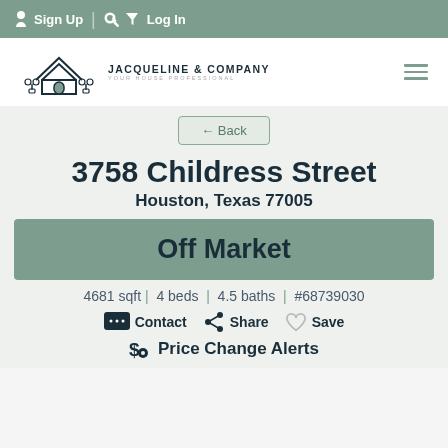Sign Up | Log In
[Figure (logo): Jacqueline & Company house logo with plants and text 'YOUR HOUSE PROFESSIONAL']
← Back
3758 Childress Street
Houston, Texas 77005
Off Market
4681 sqft | 4 beds | 4.5 baths | #68739030
Contact  Share  Save
Price Change Alerts